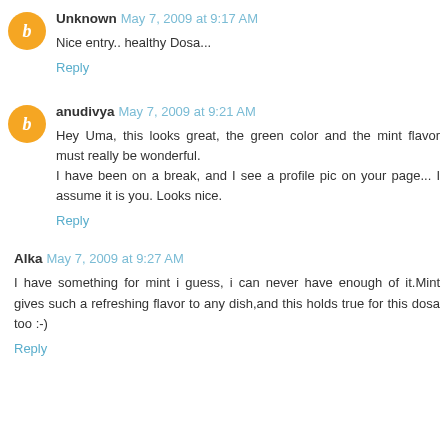Unknown May 7, 2009 at 9:17 AM
Nice entry.. healthy Dosa...
Reply
anudivya May 7, 2009 at 9:21 AM
Hey Uma, this looks great, the green color and the mint flavor must really be wonderful. I have been on a break, and I see a profile pic on your page... I assume it is you. Looks nice.
Reply
Alka May 7, 2009 at 9:27 AM
I have something for mint i guess, i can never have enough of it.Mint gives such a refreshing flavor to any dish,and this holds true for this dosa too :-)
Reply